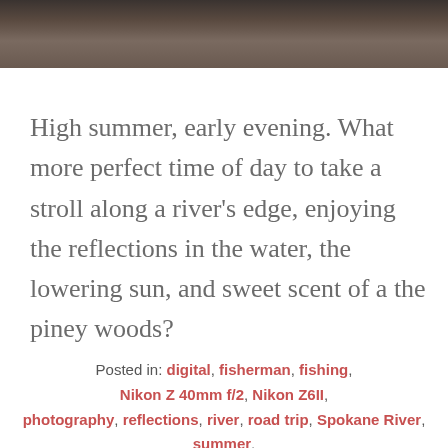[Figure (photo): Top portion of a photo showing rocks near a river, with a cursive watermark signature '© N. McDem' in the lower right corner.]
High summer, early evening. What more perfect time of day to take a stroll along a river's edge, enjoying the reflections in the water, the lowering sun, and sweet scent of a the piney woods?
Posted in: digital, fisherman, fishing, Nikon Z 40mm f/2, Nikon Z6II, photography, reflections, river, road trip, Spokane River, summer, Washington State, water